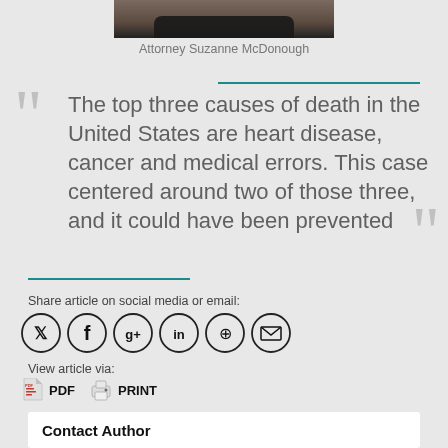[Figure (photo): Top portion of a photo showing Attorney Suzanne McDonough]
Attorney Suzanne McDonough
The top three causes of death in the United States are heart disease, cancer and medical errors. This case centered around two of those three, and it could have been prevented
Share article on social media or email:
[Figure (infographic): Social media share icons: Twitter, Facebook, Google+, LinkedIn, Pinterest, Email]
View article via:
PDF   PRINT
Contact Author